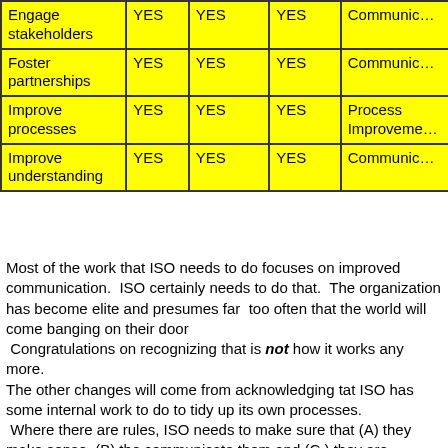|  |  |  |  |  |
| --- | --- | --- | --- | --- |
| Engage stakeholders | YES | YES | YES | Communic… |
| Foster partnerships | YES | YES | YES | Communic… |
| Improve processes | YES | YES | YES | Process Improveme… |
| Improve understanding | YES | YES | YES | Communic… |
Most of the work that ISO needs to do focuses on improved communication.  ISO certainly needs to do that.  The organization has become elite and presumes far  too often that the world will come banging on their door
 Congratulations on recognizing that is not how it works any more.
The other changes will come from acknowledging tat ISO has some internal work to do to tidy up its own processes.  Where there are rules, ISO needs to make sure that (A) they make sense, (B) the communicate them and (C ) they are